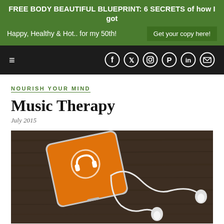FREE BODY BEAUTIFUL BLUEPRINT: 6 SECRETS of how I got Happy, Healthy & Hot.. for my 50th! Get your copy here!
[Figure (screenshot): Black navigation bar with hamburger menu icon on the left and social media icons (Facebook, Twitter, Instagram, Pinterest, LinkedIn, Email) on the right, all on black background]
NOURISH YOUR MIND
Music Therapy
July 2015
[Figure (photo): A smartphone with an orange music app screen showing headphone icon, with white Samsung earbuds/earphones laid out on a dark wooden surface]